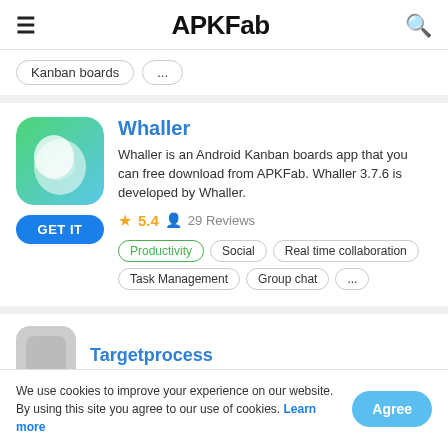APKFab
Kanban boards ...
Whaller
Whaller is an Android Kanban boards app that you can free download from APKFab. Whaller 3.7.6 is developed by Whaller.
5.4  29 Reviews
Productivity
Social
Real time collaboration
Task Management
Group chat
...
Targetprocess
We use cookies to improve your experience on our website. By using this site you agree to our use of cookies. Learn more